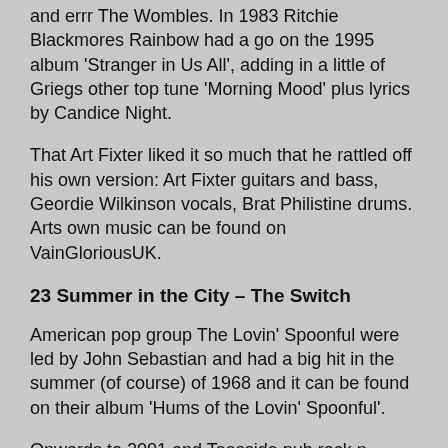and errr The Wombles. In 1983 Ritchie Blackmores Rainbow had a go on the 1995 album 'Stranger in Us All', adding in a little of Griegs other top tune 'Morning Mood' plus lyrics by Candice Night.
That Art Fixter liked it so much that he rattled off his own version: Art Fixter guitars and bass, Geordie Wilkinson vocals, Brat Philistine drums. Arts own music can be found on VainGloriousUK.
23 Summer in the City – The Switch
American pop group The Lovin' Spoonful were led by John Sebastian and had a big hit in the summer (of course) of 1968 and it can be found on their album 'Hums of the Lovin' Spoonful'.
Onwards to 2001 and Teesside pub rock n poppers The Switch had a varied repertoire featuring the cultured vocal of Ken Allan and inadvertently discovered a musical prodigy in the shape of 15